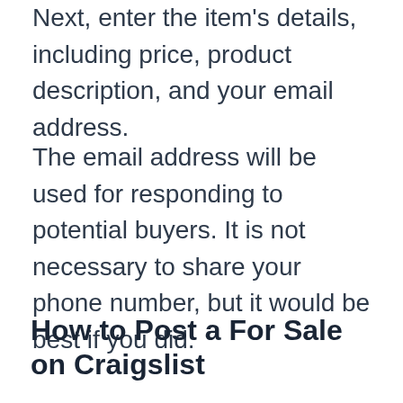Next, enter the item's details, including price, product description, and your email address.
The email address will be used for responding to potential buyers. It is not necessary to share your phone number, but it would be best if you did.
How to Post a For Sale on Craigslist